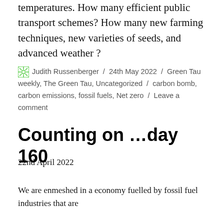temperatures. How many efficient public transport schemes? How many new farming techniques, new varieties of seeds, and advanced weather ?
Judith Russenberger / 24th May 2022 / Green Tau weekly, The Green Tau, Uncategorized / carbon bomb, carbon emissions, fossil fuels, Net zero / Leave a comment
Counting on ...day 160
22nd April 2022
We are enmeshed in a economy fuelled by fossil fuel industries that are